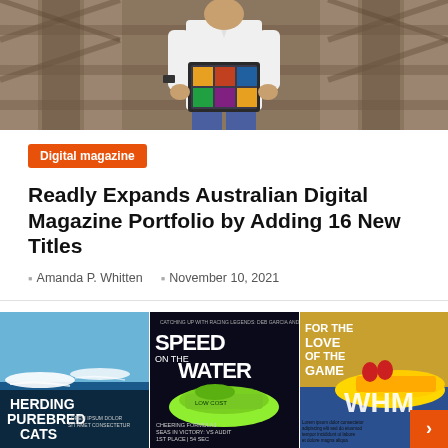[Figure (photo): Photo of a person in white shirt holding a tablet device, sitting in front of a wooden fence/wall background]
Digital magazine
Readly Expands Australian Digital Magazine Portfolio by Adding 16 New Titles
Amanda P. Whitten   November 10, 2021
[Figure (photo): Three magazine covers side by side: 1) Herding Purebred Cats with powerboats on water, 2) Speed on the Water magazine with green racing boat, 3) For the Love of the Game with yellow racing boat and WHM text]